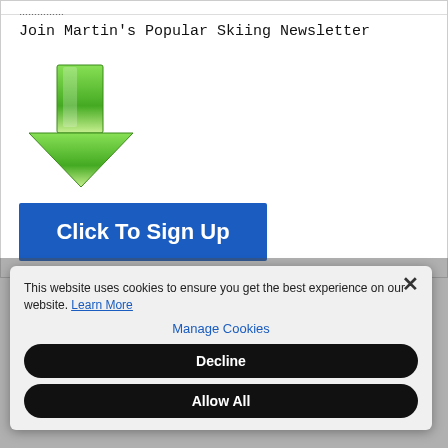…………
Join Martin's Popular Skiing Newsletter
[Figure (illustration): A large green downward-pointing arrow icon]
[Figure (screenshot): Blue button with white bold text reading 'Click To Sign Up']
This website uses cookies to ensure you get the best experience on our website. Learn More
Manage Cookies
Decline
Allow All